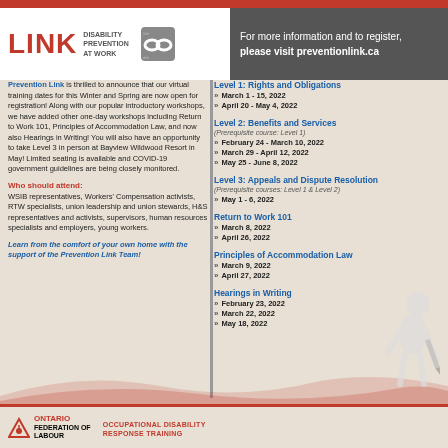LINK DISABILITY PREVENTION AT WORK
For more information and to register, please visit preventionlink.ca
Prevention Link is thrilled to announce that our virtual training dates for this Winter and Spring are now open for registration! Along with our popular introductory workshops, we have added other one-day workshops including Return to Work 101, Principles of Accommodation Law, and now also Hearings in Writing! You will also have an opportunity to take Level 3 in person at Bayview Wildwood Resort in May! Limited seating is available and COVID-19 government guidelines are being closely monitored.
Who should attend:
WSIB representatives, Workers' Compensation activists, RTW specialists, union leadership and union stewards, H&S representatives and activists, supervisors, human resources specialists and employers, young workers.
Learn from the comfort of your own home with the support of the Prevention Link Team!
Level 1: Rights and Obligations
March 1 - 15, 2022
April 20 - May 4, 2022
Level 2: Benefits and Services
(Prerequisite course: Level 1)
February 24 - March 10, 2022
March 29 - April 12, 2022
May 25 - June 8, 2022
Level 3: Appeals and Dispute Resolution
(Prerequisite courses: Level 1 & Level 2)
May 1 - 6, 2022
Return to Work 101
March 8, 2022
April 26, 2022
Principles of Accommodation Law
March 9, 2022
April 27, 2022
Hearings in Writing
February 23, 2022
March 22, 2022
May 18, 2022
ONTARIO FEDERATION OF LABOUR — OCCUPATIONAL DISABILITY RESPONSE TRAINING